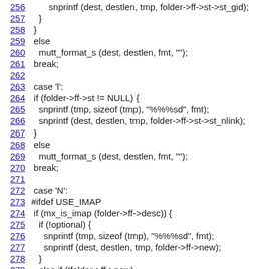256   snprintf (dest, destlen, tmp, folder->ff->st->st_gid);
257     }
258   }
259   else
260     mutt_format_s (dest, destlen, fmt, "");
261   break;
262
263   case 'l':
264   if (folder->ff->st != NULL) {
265     snprintf (tmp, sizeof (tmp), "%%%sd", fmt);
266     snprintf (dest, destlen, tmp, folder->ff->st->st_nlink);
267   }
268   else
269     mutt_format_s (dest, destlen, fmt, "");
270   break;
271
272   case 'N':
273 #ifdef USE_IMAP
274   if (mx_is_imap (folder->ff->desc)) {
275     if (!optional) {
276       snprintf (tmp, sizeof (tmp), "%%%sd", fmt);
277       snprintf (dest, destlen, tmp, folder->ff->new);
278     }
279     else if (!folder->ff->new)
280       optional = 0;